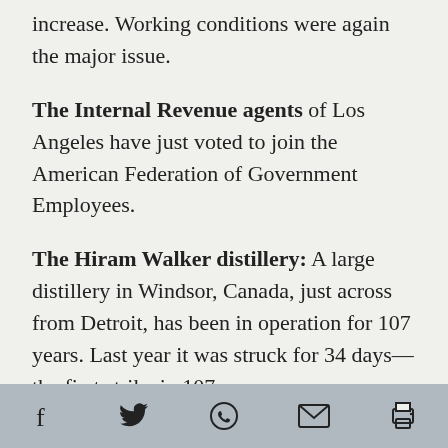increase. Working conditions were again the major issue.
The Internal Revenue agents of Los Angeles have just voted to join the American Federation of Government Employees.
The Hiram Walker distillery: A large distillery in Windsor, Canada, just across from Detroit, has been in operation for 107 years. Last year it was struck for 34 days—the first strike in 107 years.
Detroit garbage collectors: A part-time
[social share icons: Facebook, Twitter, WhatsApp, Email, Print]